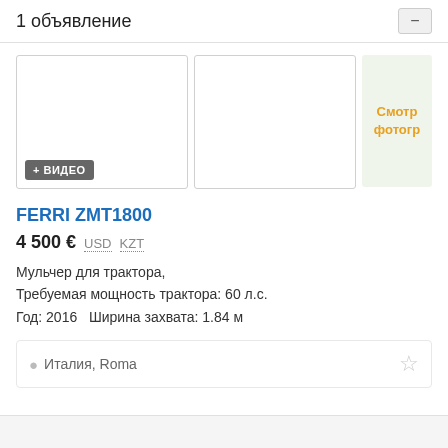1 объявление
[Figure (screenshot): Three image placeholders for a listing: main large white box with '+ ВИДЕО' badge, second white box, third light green box with 'Смотр фотогр' text in orange]
FERRI ZMT1800
4 500 €  USD  KZT
Мульчер для трактора,
Требуемая мощность трактора: 60 л.с.
Год: 2016  Ширина захвата: 1.84 м
Италия, Roma